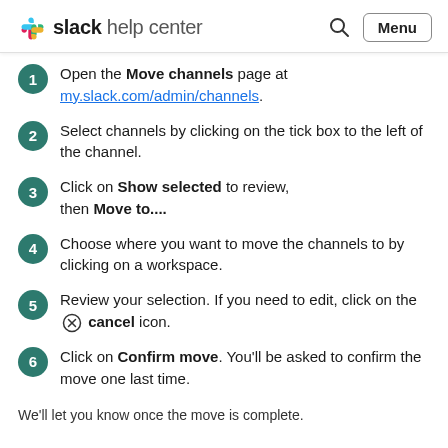slack help center
Open the Move channels page at my.slack.com/admin/channels.
Select channels by clicking on the tick box to the left of the channel.
Click on Show selected to review, then Move to....
Choose where you want to move the channels to by clicking on a workspace.
Review your selection. If you need to edit, click on the cancel icon.
Click on Confirm move. You'll be asked to confirm the move one last time.
We'll let you know once the move is complete.